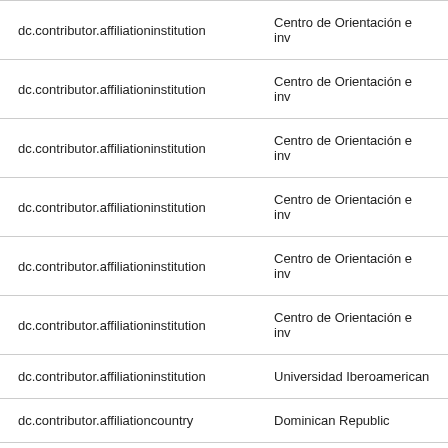| Field | Value |
| --- | --- |
| dc.contributor.affiliationinstitution | Centro de Orientación e inv |
| dc.contributor.affiliationinstitution | Centro de Orientación e inv |
| dc.contributor.affiliationinstitution | Centro de Orientación e inv |
| dc.contributor.affiliationinstitution | Centro de Orientación e inv |
| dc.contributor.affiliationinstitution | Centro de Orientación e inv |
| dc.contributor.affiliationinstitution | Centro de Orientación e inv |
| dc.contributor.affiliationinstitution | Universidad Iberoamerican |
| dc.contributor.affiliationcountry | Dominican Republic |
| dc.contributor.affiliationcountry | Dominican Republic |